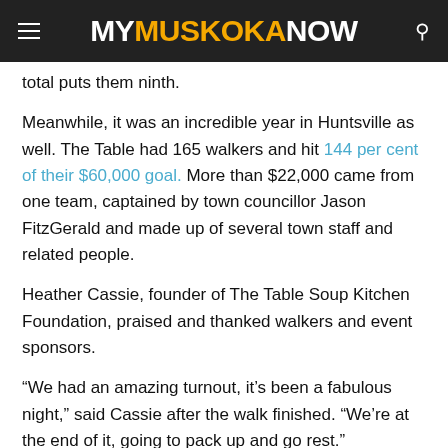MY MUSKOKA NOW
total puts them ninth.
Meanwhile, it was an incredible year in Huntsville as well. The Table had 165 walkers and hit 144 per cent of their $60,000 goal. More than $22,000 came from one team, captained by town councillor Jason FitzGerald and made up of several town staff and related people.
Heather Cassie, founder of The Table Soup Kitchen Foundation, praised and thanked walkers and event sponsors.
“We had an amazing turnout, it’s been a fabulous night,” said Cassie after the walk finished. “We’re at the end of it, going to pack up and go rest.”